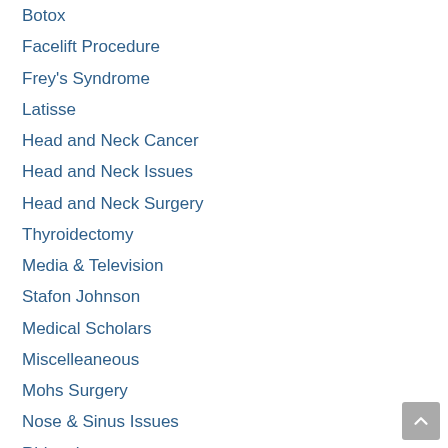Botox
Facelift Procedure
Frey's Syndrome
Latisse
Head and Neck Cancer
Head and Neck Issues
Head and Neck Surgery
Thyroidectomy
Media & Television
Stafon Johnson
Medical Scholars
Miscelleaneous
Mohs Surgery
Nose & Sinus Issues
Rhinoplasty
Osborne Head & Neck Institute